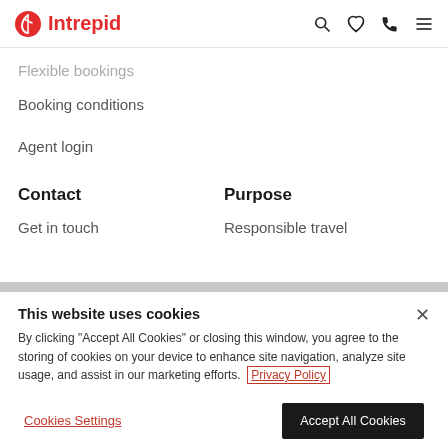Intrepid
Flexible bookings
Booking conditions
Agent login
Contact
Purpose
Get in touch
Responsible travel
This website uses cookies
By clicking "Accept All Cookies" or closing this window, you agree to the storing of cookies on your device to enhance site navigation, analyze site usage, and assist in our marketing efforts. Privacy Policy
Cookies Settings
Accept All Cookies